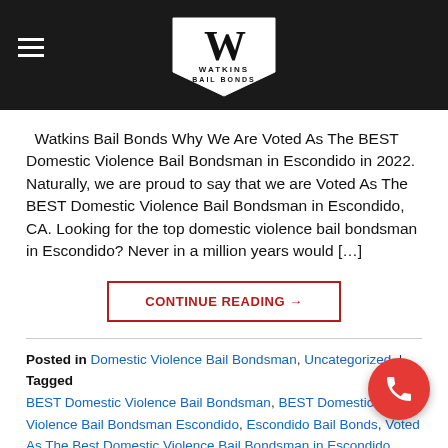Watkins Bail Bonds — navigation header with logo
Watkins Bail Bonds Why We Are Voted As The BEST Domestic Violence Bail Bondsman in Escondido in 2022. Naturally, we are proud to say that we are Voted As The BEST Domestic Violence Bail Bondsman in Escondido, CA. Looking for the top domestic violence bail bondsman in Escondido? Never in a million years would […]
CONTINUE READING →
Posted in Domestic Violence Bail Bondsman, Uncategorized | Tagged BEST Domestic Violence Bail Bondsman, BEST Domestic Violence Bail Bondsman Escondido, Escondido Bail Bonds, Voted As The Best Domestic Violence Bail Bondsman in Escondido, Voted as the Oceanside Bail Bondsman Service, Voted As The TOP Domestic Violence Bail Bondsman in Escondido Leave a comment